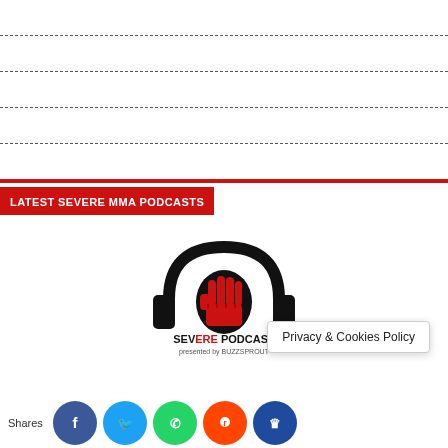Carl McNally Signs Multi-Fight Contract With KSW
The Severe Spotlight: Alexandre Pantoja
Video – UFC 277: Post-Fight Press Conference
Episode 374 – Severe MMA Podcast
Shauna Bannon signs with Invicta FC
LATEST SEVERE MMA PODCASTS
[Figure (logo): Severe MMA Podcast logo: headphones with a red raised fist in the center, black and red color scheme, text 'SEVERE PODCAST presented by BUZZSPROUT' below]
Privacy & Cookies Policy
Shares